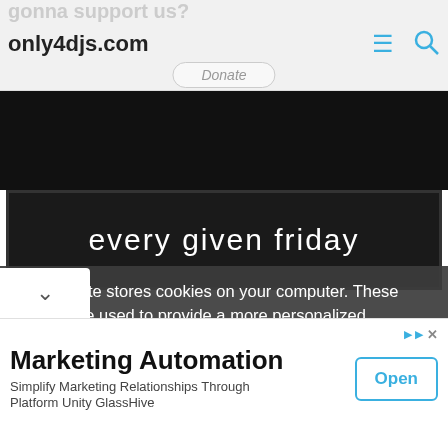gonna support us?
only4djs.com   [menu] [search]   Donate
[Figure (photo): Black banner image area - website header dark background]
[Figure (photo): Dark image banner with handwritten-style text reading 'every given friday']
This website stores cookies on your computer. These cookies are used to provide a more personalized experience and to track your whereabouts around our website in compliance with the European General Data Protection Regulation. If you decide to to opt-out of ure tracking, a cookie will be setup in your browser
[Figure (screenshot): Advertisement banner: Marketing Automation - Simplify Marketing Relationships Through Platform Unity GlassHive - Open button]